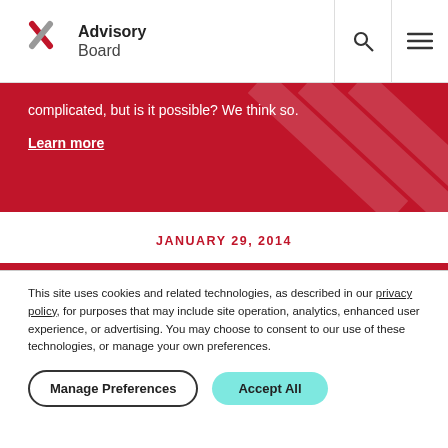Advisory Board
complicated, but is it possible? We think so.
Learn more
JANUARY 29, 2014
Hospital CEO sentenced to 10 years in prison for fraud
This site uses cookies and related technologies, as described in our privacy policy, for purposes that may include site operation, analytics, enhanced user experience, or advertising. You may choose to consent to our use of these technologies, or manage your own preferences.
Manage Preferences
Accept All